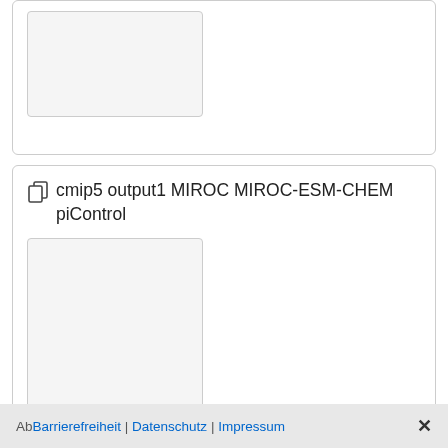[Figure (other): Thumbnail image placeholder in top card (light gray rectangle with border)]
[Figure (other): Card with copy icon and title: cmip5 output1 MIROC MIROC-ESM-CHEM piControl, with a large thumbnail image placeholder below]
Ab Barrierefreiheit | Datenschutz | Impressum ✕